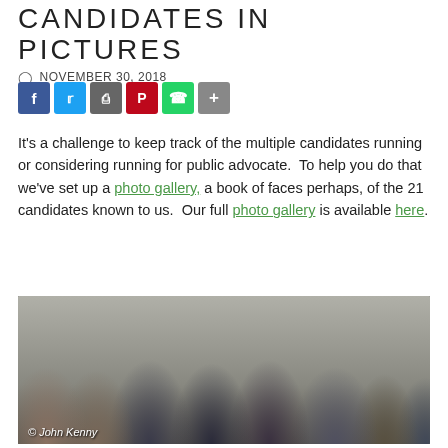CANDIDATES IN PICTURES
NOVEMBER 30, 2018
[Figure (other): Social share buttons: Facebook, Twitter, Print, Pinterest, WhatsApp, More]
It's a challenge to keep track of the multiple candidates running or considering running for public advocate.  To help you do that we've set up a photo gallery, a book of faces perhaps, of the 21 candidates known to us.  Our full photo gallery is available here.
[Figure (photo): Group photo of approximately 8 candidates posing together, with photo credit '© John Kenny' in the lower left corner.]